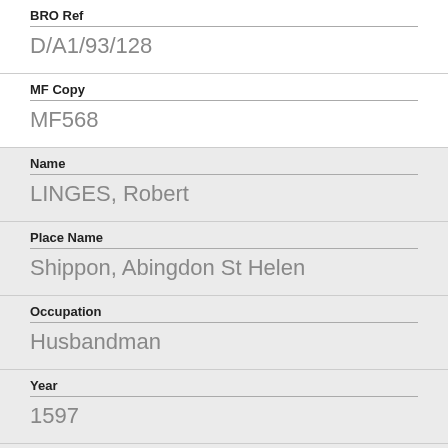BRO Ref
D/A1/93/128
MF Copy
MF568
Name
LINGES, Robert
Place Name
Shippon, Abingdon St Helen
Occupation
Husbandman
Year
1597
BRO Ref